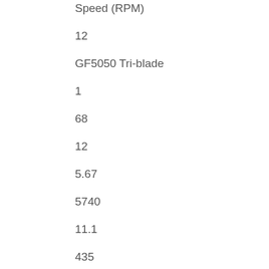Speed (RPM)
12
GF5050 Tri-blade
1
68
12
5.67
5740
11.1
435
133.2
3.27
14480
21.3
715
255.6